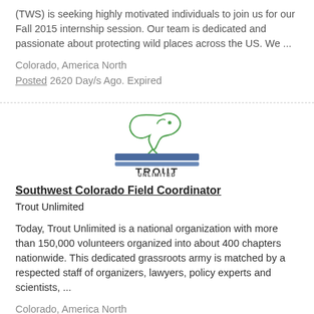(TWS) is seeking highly motivated individuals to join us for our Fall 2015 internship session.  Our team is dedicated and passionate about protecting wild places across the US.  We ...
Colorado, America North
Posted 2620 Day/s Ago. Expired
[Figure (logo): Trout Unlimited logo with a jumping fish above blue waves and the text TROUT UNLIMITED]
Southwest Colorado Field Coordinator
Trout Unlimited
Today, Trout Unlimited is a national organization with more than 150,000 volunteers organized into about 400 chapters nationwide. This dedicated grassroots army is matched by a respected staff of organizers, lawyers, policy experts and scientists, ...
Colorado, America North
Posted 2621 Day/s Ago. Expired